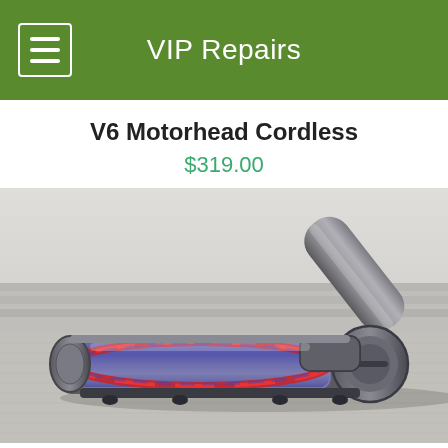VIP Repairs
V6 Motorhead Cordless
$319.00
[Figure (photo): Dyson V6 Motorhead cordless vacuum cleaner motorized floor head attachment, shown on carpet with grey hardwood floor background. The motorized head is dark grey/chrome with a transparent purple roller brush housing and red brush bar, connected to a grey handle at an angle.]